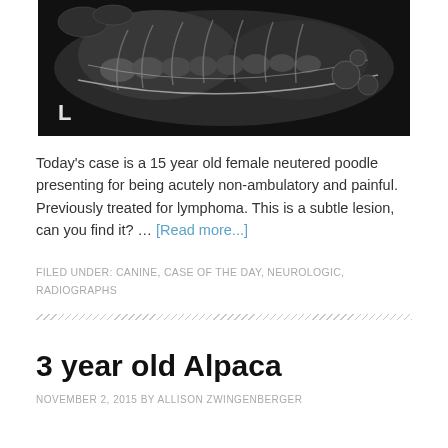[Figure (photo): Black and white X-ray radiograph of a dog (poodle), lateral view showing spinal/thoracic region. The letter 'L' is visible in the lower left corner of the image.]
Today's case is a 15 year old female neutered poodle presenting for being acutely non-ambulatory and painful. Previously treated for lymphoma. This is a subtle lesion, can you find it? … [Read more...]
FILED UNDER: CANINE, CASE OF THE DAY, NEUROLOGIC, RADIOGRAPHS
3 year old Alpaca
NOVEMBER 2, 2015 BY ALLISON ZWINGENBERGER